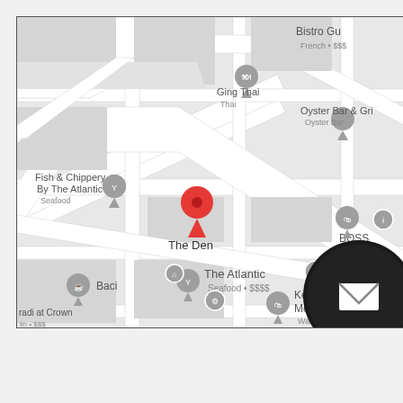[Figure (map): Google Maps screenshot showing Crown Melbourne area with restaurant and business pins. Visible locations include: The Den (red location pin, selected), Ging Thai (Thai restaurant), Oyster Bar & Grill (Oyster Bar), Fish & Chippery By The Atlantic (Seafood), The Atlantic (Seafood $$$$), Baci (cafe), Kennedy Crown Melbourne (Watch store), BOSS (Clothing), Bistro Gui (French $$$), and radi at Crown. A circular black smartwatch device with an envelope/email icon is overlaid on the right side of the map.]